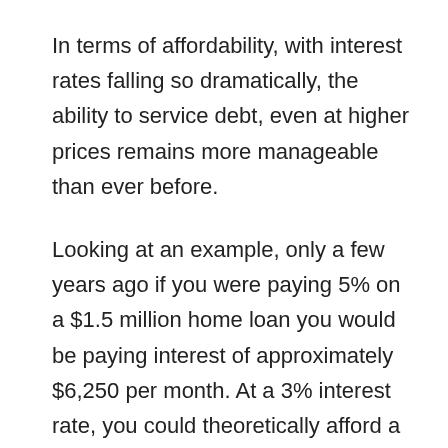In terms of affordability, with interest rates falling so dramatically, the ability to service debt, even at higher prices remains more manageable than ever before.
Looking at an example, only a few years ago if you were paying 5% on a $1.5 million home loan you would be paying interest of approximately $6,250 per month. At a 3% interest rate, you could theoretically afford a $2.5 million loan at a similar repayment level. House prices could see that extra 50% plus increase and the level of affordability still remains the same. Given that over 25% of new